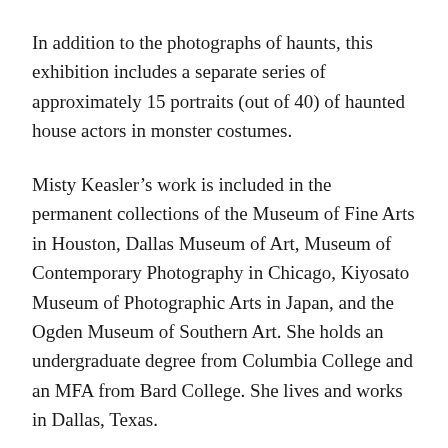In addition to the photographs of haunts, this exhibition includes a separate series of approximately 15 portraits (out of 40) of haunted house actors in monster costumes.
Misty Keasler's work is included in the permanent collections of the Museum of Fine Arts in Houston, Dallas Museum of Art, Museum of Contemporary Photography in Chicago, Kiyosato Museum of Photographic Arts in Japan, and the Ogden Museum of Southern Art. She holds an undergraduate degree from Columbia College and an MFA from Bard College. She lives and works in Dallas, Texas.